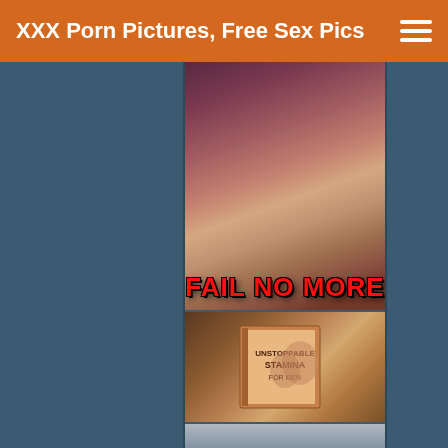XXX Porn Pictures, Free Sex Pics
[Figure (photo): Photo with red bold text overlay reading FAIL NO MORE]
[Figure (photo): Book cover showing UNSTOPPABLE STAMINA FOR MEN]
[Figure (photo): Partial photo at bottom of page]